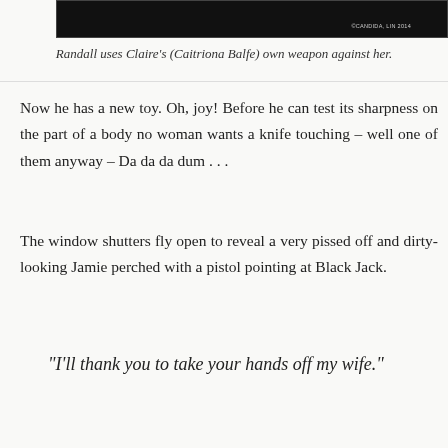[Figure (photo): Dark screenshot from a TV show, partially visible at top of page]
Randall uses Claire's (Caitriona Balfe) own weapon against her.
Now he has a new toy. Oh, joy! Before he can test its sharpness on the part of a body no woman wants a knife touching – well one of them anyway – Da da da dum . . .
The window shutters fly open to reveal a very pissed off and dirty-looking Jamie perched with a pistol pointing at Black Jack.
“I’ll thank you to take your hands off my wife.”